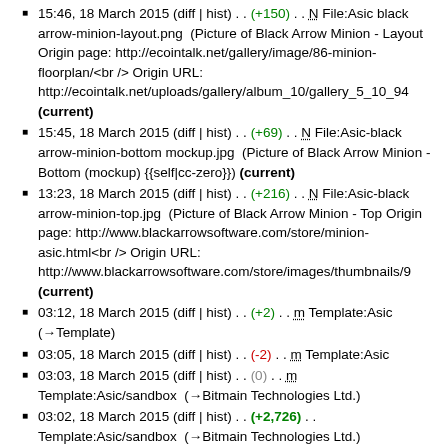15:46, 18 March 2015 (diff | hist) . . (+150) . . N File:Asic black arrow-minion-layout.png (Picture of Black Arrow Minion - Layout Origin page: http://ecointalk.net/gallery/image/86-minion-floorplan/<br /> Origin URL: http://ecointalk.net/uploads/gallery/album_10/gallery_5_10_943 (current)
15:45, 18 March 2015 (diff | hist) . . (+69) . . N File:Asic-black arrow-minion-bottom mockup.jpg (Picture of Black Arrow Minion - Bottom (mockup) {{self|cc-zero}}) (current)
13:23, 18 March 2015 (diff | hist) . . (+216) . . N File:Asic-black arrow-minion-top.jpg (Picture of Black Arrow Minion - Top Origin page: http://www.blackarrowsoftware.com/store/minion-asic.html<br /> Origin URL: http://www.blackarrowsoftware.com/store/images/thumbnails/9 (current)
03:12, 18 March 2015 (diff | hist) . . (+2) . . m Template:Asic (→Template)
03:05, 18 March 2015 (diff | hist) . . (-2) . . m Template:Asic
03:03, 18 March 2015 (diff | hist) . . (0) . . m Template:Asic/sandbox (→Bitmain Technologies Ltd.)
03:02, 18 March 2015 (diff | hist) . . (+2,726) . . Template:Asic/sandbox (→Bitmain Technologies Ltd.)
03:01, 18 March 2015 (diff | hist) . . (+182) . . N File:Asic-bitmain bm1380 top.jpg (Picture of Bitmain BM1380 - Top